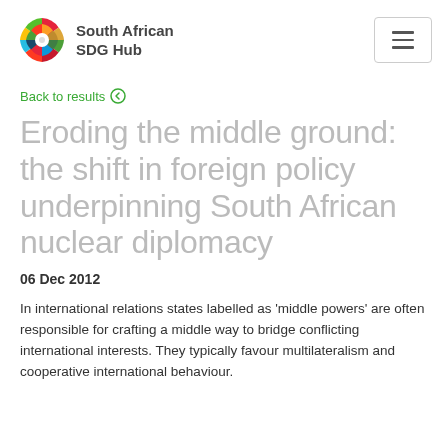South African SDG Hub
Back to results
Eroding the middle ground: the shift in foreign policy underpinning South African nuclear diplomacy
06 Dec 2012
In international relations states labelled as 'middle powers' are often responsible for crafting a middle way to bridge conflicting international interests. They typically favour multilateralism and cooperative international behaviour.